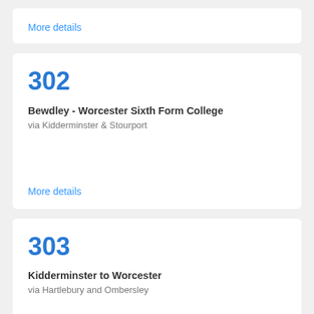More details
302
Bewdley - Worcester Sixth Form College
via Kidderminster & Stourport
More details
303
Kidderminster to Worcester
via Hartlebury and Ombersley